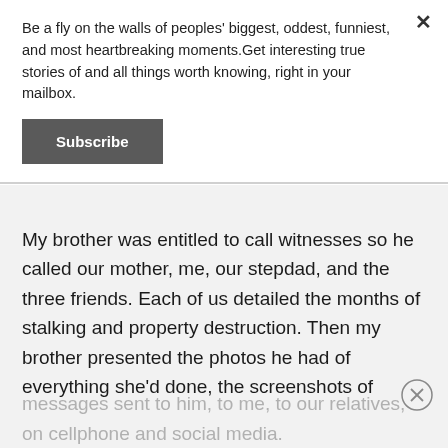Be a fly on the walls of peoples' biggest, oddest, funniest, and most heartbreaking moments.Get interesting true stories of and all things worth knowing, right in your mailbox.
Subscribe
My brother was entitled to call witnesses so he called our mother, me, our stepdad, and the three friends. Each of us detailed the months of stalking and property destruction. Then my brother presented the photos he had of everything she'd done, the screenshots of messages sent to him, to me, to our relatives, on cellphone and social media.